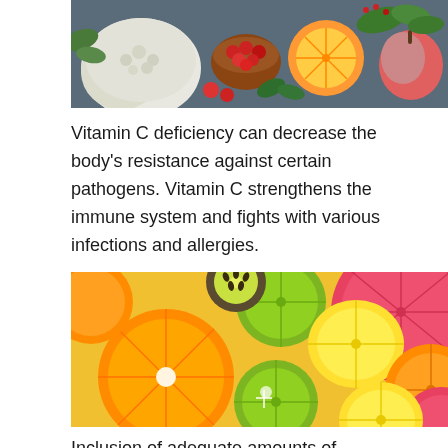[Figure (photo): Assorted vegetables and fruits on a dark wooden surface including cauliflower, red berries in a bowl, orange slices, tomatoes, basil leaves, and an apple.]
Vitamin C deficiency can decrease the body's resistance against certain pathogens. Vitamin C strengthens the immune system and fights with various infections and allergies.
[Figure (photo): Close-up of various sliced citrus fruits including limes, lemons, oranges, and grapefruit arranged together.]
Inclusion of adequate amounts of